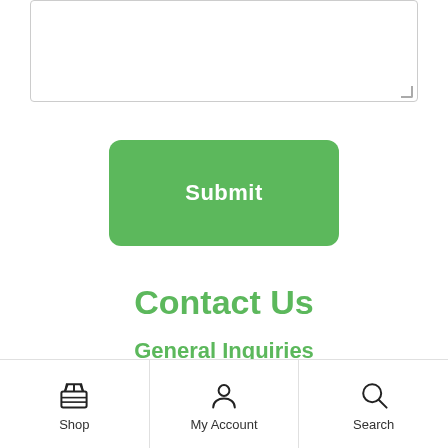[Figure (screenshot): Textarea input field with resize handle at bottom right]
[Figure (screenshot): Green Submit button]
Contact Us
General Inquiries
gicd.info@gmail.com
Shop | My Account | Search